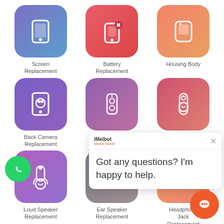[Figure (infographic): Grid of phone repair service icons: Screen Replacement, Battery Replacement, Housing Body, Back Camera Replacement, Front Camera Replacement (partially hidden), microphone/speaker icon, Loud Speaker Replacement, Ear Speaker Replacement, Headphone Jack Replacement. Plus a chat popup overlay reading 'Got any questions? I'm happy to help.' with a Melbot logo, a WhatsApp button, and an orange chat bubble button.]
Screen Replacement
Battery Replacement
Housing Body
Back Camera Replacement
Loud Speaker Replacement
Ear Speaker Replacement
Headphone Jack Replacement
Got any questions? I'm happy to help.